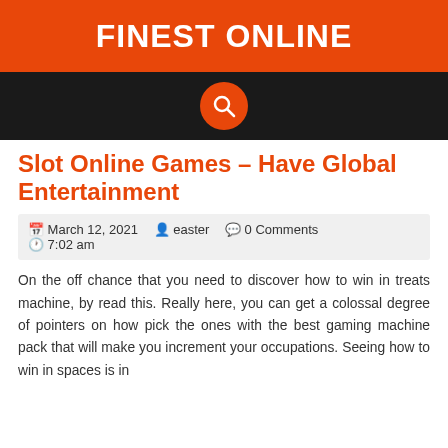FINEST ONLINE
[Figure (other): Dark navigation bar with orange circular search button icon in center]
Slot Online Games – Have Global Entertainment
March 12, 2021   easter   0 Comments   7:02 am
On the off chance that you need to discover how to win in treats machine, by read this. Really here, you can get a colossal degree of pointers on how pick the ones with the best gaming machine pack that will make you increment your occupations. Seeing how to win in spaces is in